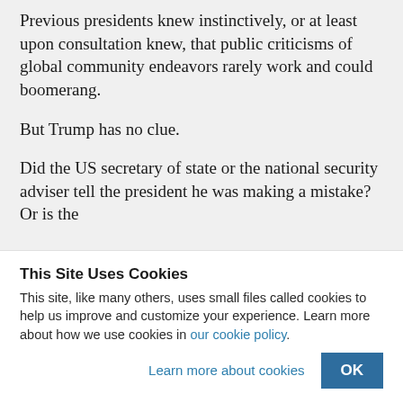Previous presidents knew instinctively, or at least upon consultation knew, that public criticisms of global community endeavors rarely work and could boomerang.
But Trump has no clue.
Did the US secretary of state or the national security adviser tell the president he was making a mistake? Or is the
This Site Uses Cookies
This site, like many others, uses small files called cookies to help us improve and customize your experience. Learn more about how we use cookies in our cookie policy.
Learn more about cookies
OK